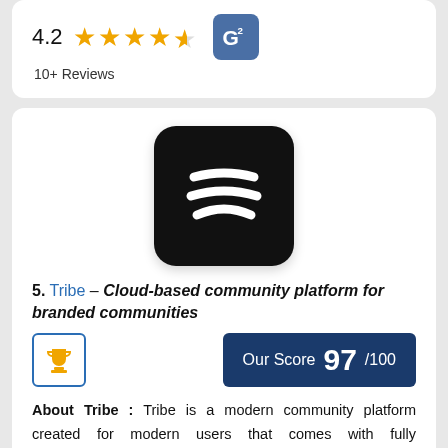4.2 ★★★★½  10+ Reviews
[Figure (logo): Tribe app logo — black rounded square with three white curved lines resembling a menu/wave icon]
5. Tribe – Cloud-based community platform for branded communities
Our Score 97/100
About Tribe : Tribe is a modern community platform created for modern users that comes with fully customizable options, brand adaptability via UI changes, embeddable widgets,